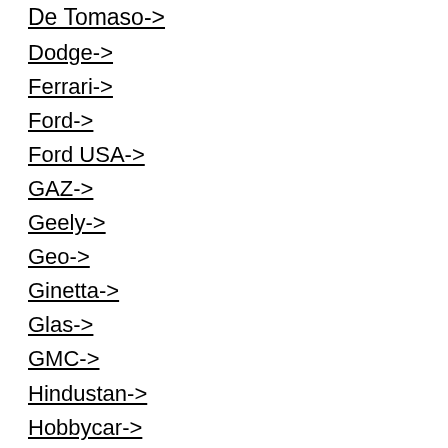De Tomaso->
Dodge->
Ferrari->
Ford->
Ford USA->
GAZ->
Geely->
Geo->
Ginetta->
Glas->
GMC->
Hindustan->
Hobbycar->
Holden->
Honda->
HSV->
Hummer->
Hyundai->
Indica->